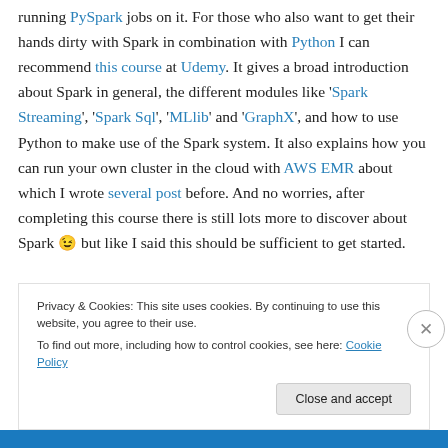running PySpark jobs on it. For those who also want to get their hands dirty with Spark in combination with Python I can recommend this course at Udemy. It gives a broad introduction about Spark in general, the different modules like 'Spark Streaming', 'Spark Sql', 'MLlib' and 'GraphX', and how to use Python to make use of the Spark system. It also explains how you can run your own cluster in the cloud with AWS EMR about which I wrote several post before. And no worries, after completing this course there is still lots more to discover about Spark 😉 but like I said this should be sufficient to get started.
Privacy & Cookies: This site uses cookies. By continuing to use this website, you agree to their use. To find out more, including how to control cookies, see here: Cookie Policy